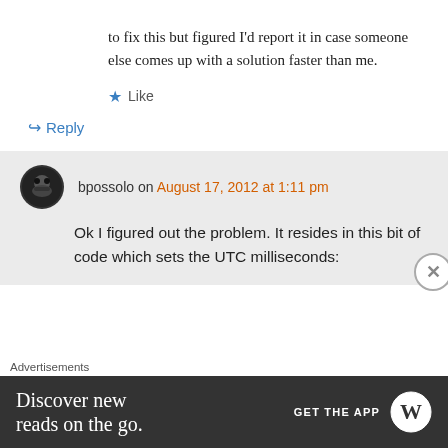to fix this but figured I'd report it in case someone else comes up with a solution faster than me.
★ Like
↪ Reply
bpossolo on August 17, 2012 at 1:11 pm
Ok I figured out the problem. It resides in this bit of code which sets the UTC milliseconds:
Advertisements
[Figure (other): WordPress app advertisement banner: 'Discover new reads on the go. GET THE APP' with WordPress logo]